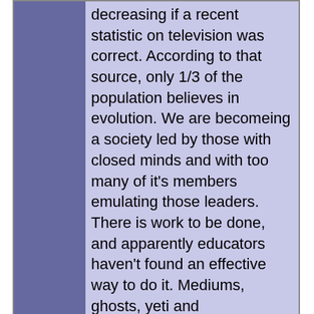decreasing if a recent statistic on television was correct. According to that source, only 1/3 of the population believes in evolution. We are becomeing a society led by those with closed minds and with too many of it's members emulating those leaders. There is work to be done, and apparently educators haven't found an effective way to do it. Mediums, ghosts, yeti and extrterrestrial aliens are ok, but not evolution. Scary.
| Feedback Letter |
| --- |
| From: | David Chisholm |
| Comment: | Regarding moon distance from Earth. I diffidently suggest that your correpsondent works through the arithmetic for himself before asking his question. Moon/Earth distance = 400,000km = 400,000,000m = |